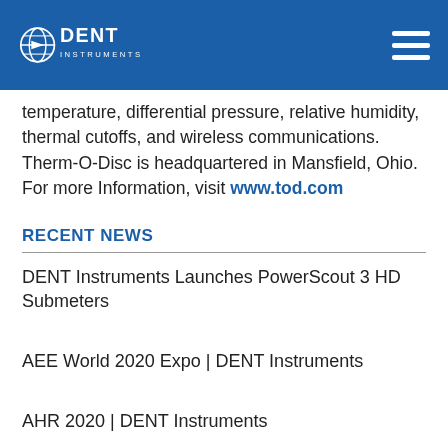DENT INSTRUMENTS
temperature, differential pressure, relative humidity, thermal cutoffs, and wireless communications. Therm-O-Disc is headquartered in Mansfield, Ohio. For more Information, visit www.tod.com
RECENT NEWS
DENT Instruments Launches PowerScout 3 HD Submeters
AEE World 2020 Expo | DENT Instruments
AHR 2020 | DENT Instruments